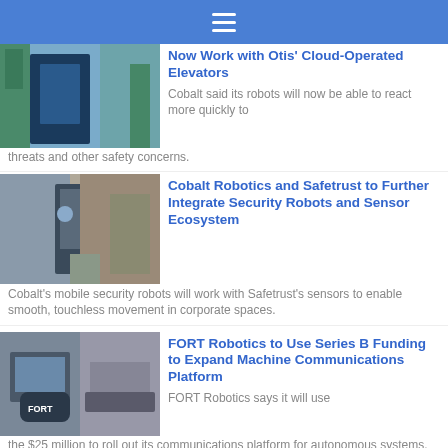☰
Now Work with Otis' Cloud-Operated Elevators
Cobalt said its robots will now be able to react more quickly to threats and other safety concerns.
Cobalt Robotics and Safetrust to Further Integrate Security Robots and Sensor Ecosystem
Cobalt's mobile security robots will work with Safetrust's sensors to enable smooth, touchless movement in corporate spaces.
FORT Robotics to Use Series B Funding to Expand Machine Communications Platform
FORT Robotics says it will use the $25 million to roll out its communications platform for autonomous systems.
Ondas Holdings, Owner of